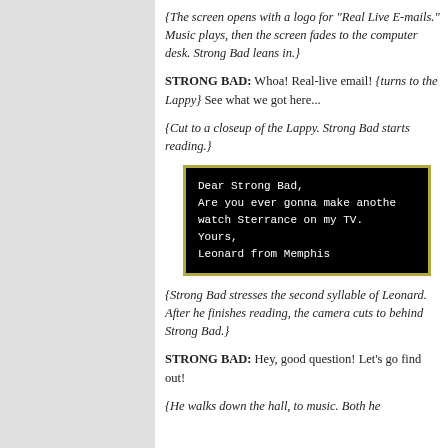{The screen opens with a logo for "Real Live E-mails." Music plays, then the screen fades to the computer desk. Strong Bad leans in.}
STRONG BAD: Whoa! Real-live email! {turns to the Lappy} See what we got here...
{Cut to a closeup of the Lappy. Strong Bad starts reading.}
[Figure (screenshot): Black computer screen with monospace white text reading an email: 'Dear Strong Bad, Are you ever gonna make another watch Sterrance on my TV. Yours, Leonard from Memphis']
{Strong Bad stresses the second syllable of Leonard. After he finishes reading, the camera cuts to behind Strong Bad.}
STRONG BAD: Hey, good question! Let's go find out!
{He walks down the hall, to music. Both he